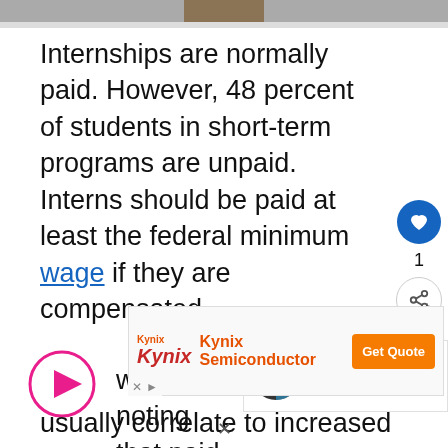[Figure (photo): Partial image at top of page, showing a photograph cropped at the bottom]
Internships are normally paid. However, 48 percent of students in short-term programs are unpaid. Interns should be paid at least the federal minimum wage if they are compensated.
[Figure (infographic): Play button circle icon overlay on second paragraph]
[Figure (infographic): What's Next box with pie chart and text: Difference Between...]
It's worth noting that paid interns' usually correlate to increased odds of
[Figure (infographic): Kynix Semiconductor advertisement banner with Get Quote button]